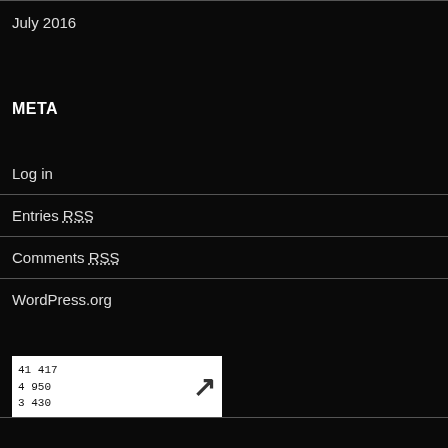July 2016
META
Log in
Entries RSS
Comments RSS
WordPress.org
[Figure (other): Stats widget showing numbers 41 417, 4 950, 3 430 with an arrow pointing up-right]